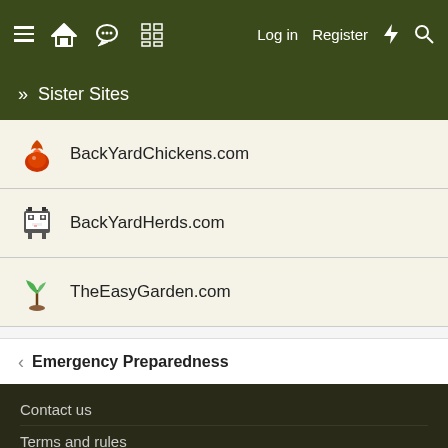≡ 🏠 💬 📋 Log in Register ⚡ 🔍
» Sister Sites
BackYardChickens.com
BackYardHerds.com
TheEasyGarden.com
< Emergency Preparedness
Contact us
Terms and rules
Privacy policy
Help
Home